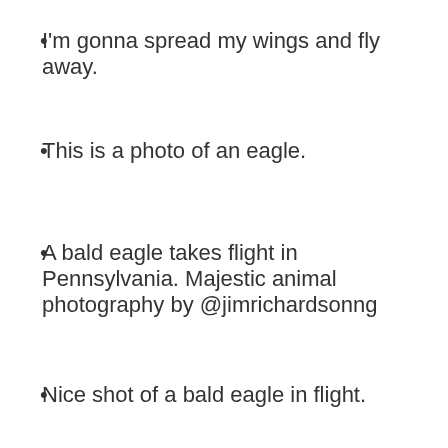I'm gonna spread my wings and fly away.
This is a photo of an eagle.
A bald eagle takes flight in Pennsylvania. Majestic animal photography by @jimrichardsonng
Nice shot of a bald eagle in flight.